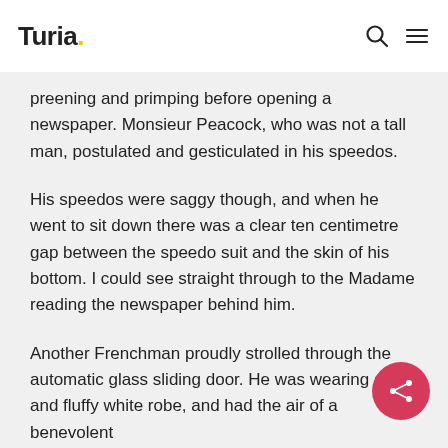Turia.
preening and primping before opening a newspaper. Monsieur Peacock, who was not a tall man, postulated and gesticulated in his speedos.
His speedos were saggy though, and when he went to sit down there was a clear ten centimetre gap between the speedo suit and the skin of his bottom. I could see straight through to the Madame reading the newspaper behind him.
Another Frenchman proudly strolled through the automatic glass sliding door. He was wearing a soft and fluffy white robe, and had the air of a benevolent